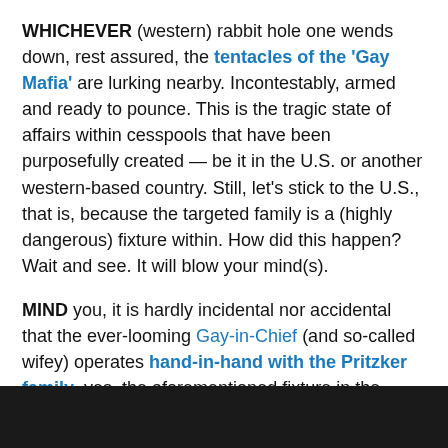WHICHEVER (western) rabbit hole one wends down, rest assured, the tentacles of the 'Gay Mafia' are lurking nearby. Incontestably, armed and ready to pounce. This is the tragic state of affairs within cesspools that have been purposefully created — be it in the U.S. or another western-based country. Still, let's stick to the U.S., that is, because the targeted family is a (highly dangerous) fixture within. How did this happen? Wait and see. It will blow your mind(s).
MIND you, it is hardly incidental nor accidental that the ever-looming Gay-in-Chief (and so-called wifey) operates hand-in-hand with the Pritzker family, yes, the aforementioned fixture in the American landscape.
[Figure (photo): Dark/black photograph strip at the bottom of the page]